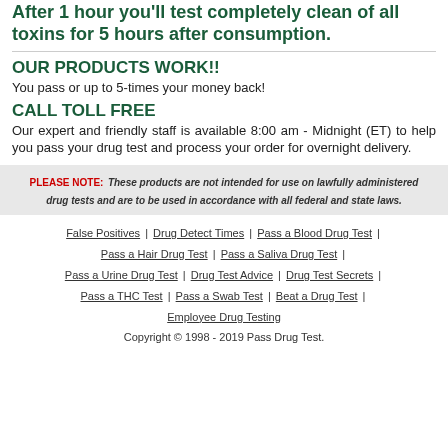After 1 hour you'll test completely clean of all toxins for 5 hours after consumption.
OUR PRODUCTS WORK!!
You pass or up to 5-times your money back!
CALL TOLL FREE
Our expert and friendly staff is available 8:00 am - Midnight (ET) to help you pass your drug test and process your order for overnight delivery.
PLEASE NOTE: These products are not intended for use on lawfully administered drug tests and are to be used in accordance with all federal and state laws.
False Positives | Drug Detect Times | Pass a Blood Drug Test | Pass a Hair Drug Test | Pass a Saliva Drug Test | Pass a Urine Drug Test | Drug Test Advice | Drug Test Secrets | Pass a THC Test | Pass a Swab Test | Beat a Drug Test | Employee Drug Testing
Copyright © 1998 - 2019 Pass Drug Test.